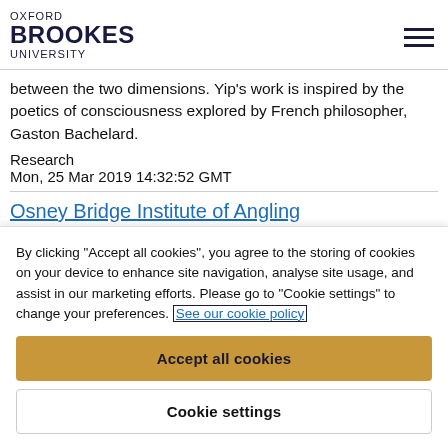OXFORD BROOKES UNIVERSITY
between the two dimensions. Yip's work is inspired by the poetics of consciousness explored by French philosopher, Gaston Bachelard.
Research
Mon, 25 Mar 2019 14:32:52 GMT
Osney Bridge Institute of Angling
This is an architectural design celebrating the teaching of
By clicking "Accept all cookies", you agree to the storing of cookies on your device to enhance site navigation, analyse site usage, and assist in our marketing efforts. Please go to "Cookie settings" to change your preferences. See our cookie policy
Accept all cookies
Cookie settings